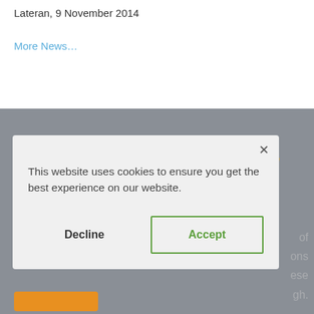Lateran, 9 November 2014
More News…
[Figure (logo): Diocese of Clogher italic logo text in gold and navy on grey background]
This website uses cookies to ensure you get the best experience on our website.
Decline   Accept